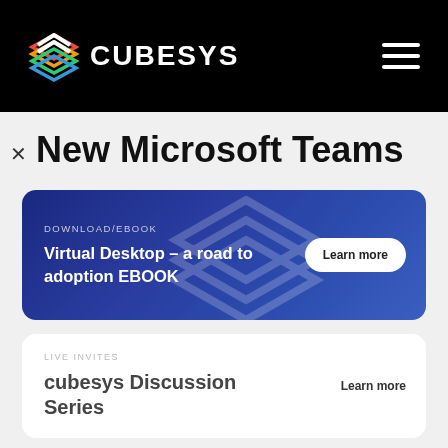[Figure (logo): Cubesys logo with colorful stacked chevron icon and white CUBESYS text on black navigation bar, with hamburger menu icon on the right]
New Microsoft Teams
[Figure (infographic): Blue promotional card with text 'DOWNLOAD/EBOOK' and 'Virtual Desktop – a road to adoption EBOOK' with a 'Learn more' button on the right]
[Figure (infographic): White card with 'LIVE INVITES' label and 'cubesys Discussion Series' title with 'Learn more' button on the right]